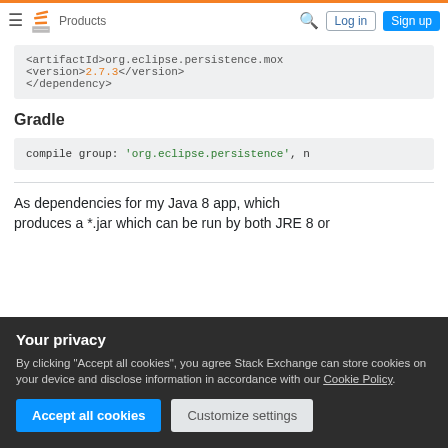≡  [Stack Overflow logo]  Products  🔍  Log in  Sign up
[Figure (screenshot): Code block showing XML Maven dependency snippet: <artifactId>org.eclipse.persistence.mox... <version>2.7.3</version> </dependency>]
Gradle
[Figure (screenshot): Code block showing Gradle compile dependency: compile group: 'org.eclipse.persistence', n...]
As dependencies for my Java 8 app, which produces a *.jar which can be run by both JRE 8 or
Your privacy
By clicking "Accept all cookies", you agree Stack Exchange can store cookies on your device and disclose information in accordance with our Cookie Policy.
Accept all cookies   Customize settings